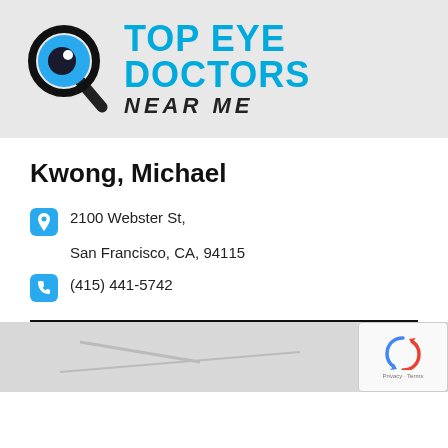[Figure (logo): Top Eye Doctors Near Me logo with magnifying glass eye icon and blue/black text]
Kwong, Michael
2100 Webster St, San Francisco, CA, 94115
(415) 441-5742
[Figure (map): Partial map view at bottom of page with reCAPTCHA overlay in bottom right corner]